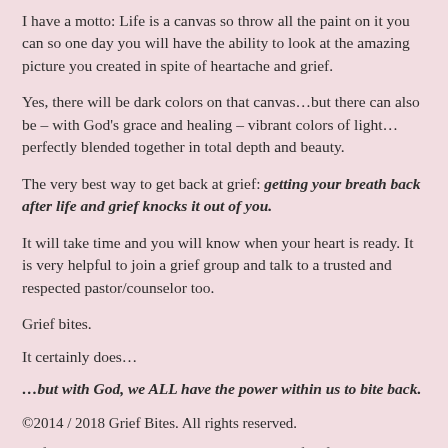I have a motto: Life is a canvas so throw all the paint on it you can so one day you will have the ability to look at the amazing picture you created in spite of heartache and grief.
Yes, there will be dark colors on that canvas…but there can also be – with God's grace and healing – vibrant colors of light…perfectly blended together in total depth and beauty.
The very best way to get back at grief: getting your breath back after life and grief knocks it out of you.
It will take time and you will know when your heart is ready. It is very helpful to join a grief group and talk to a trusted and respected pastor/counselor too.
Grief bites.
It certainly does…
…but with God, we ALL have the power within us to bite back.
©2014 / 2018 Grief Bites. All rights reserved.
❤ If you were encouraged by this post, please feel free to share it to